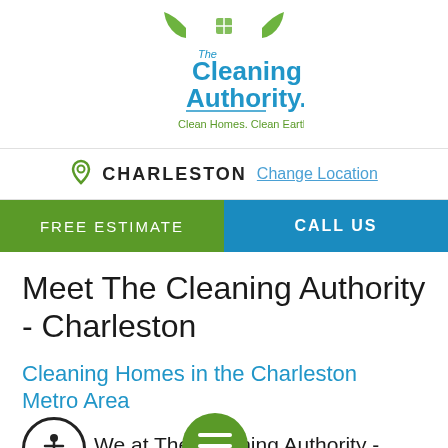[Figure (logo): The Cleaning Authority logo with green leaves, house icon, blue text 'The Cleaning Authority' and green tagline 'Clean Homes. Clean Earth.']
CHARLESTON  Change Location
FREE ESTIMATE  CALL US
Meet The Cleaning Authority - Charleston
Cleaning Homes in the Charleston Metro Area
We at The Cleaning Authority - Charleston